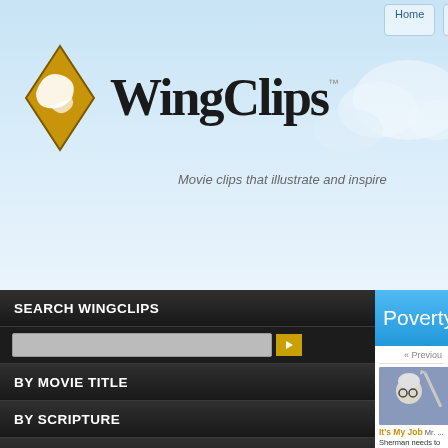Home | My Library | Sermon Outline
[Figure (logo): WingClips logo with golden wing icon and bold serif text 'WingClips']
Movie clips that illustrate and inspire
SEARCH WINGCLIPS
BY MOVIE TITLE
BY SCRIPTURE
BY CATEGORY
BY THEME
9/11 -1-
Abandoned -3-
Abandonment -19-
Abduction -5-
Abolition -8-
Abortion -22-
Absurdity -5-
Abuse -28-
Poverty
« Previous
[Figure (screenshot): Animated movie clip thumbnail showing cartoon character in armor with sword - Mr. Peabody and Sherman]
It's My Job  Mr. ...
Sherman needs to b... fight in the Trojan W...
Themes: Safety, Th... Teaching, Violence,...
[Figure (screenshot): Movie clip thumbnail showing characters from French Revolution scene - Mr. Peabody]
French Revolu...
Mr. Peabody uses h... French Revolution.
Themes: Safety, Th... Poverty, Power,...